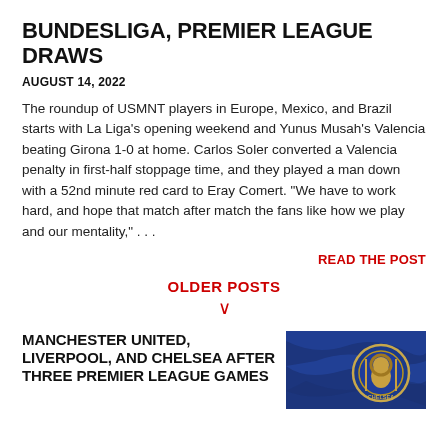BUNDESLIGA, PREMIER LEAGUE DRAWS
AUGUST 14, 2022
The roundup of USMNT players in Europe, Mexico, and Brazil starts with La Liga's opening weekend and Yunus Musah's Valencia beating Girona 1-0 at home. Carlos Soler converted a Valencia penalty in first-half stoppage time, and they played a man down with a 52nd minute red card to Eray Comert. "We have to work hard, and hope that match after match the fans like how we play and our mentality," . . .
READ THE POST
OLDER POSTS
MANCHESTER UNITED, LIVERPOOL, AND CHELSEA AFTER THREE PREMIER LEAGUE GAMES
[Figure (photo): Blue Chelsea jersey/flag with Chelsea FC badge visible]